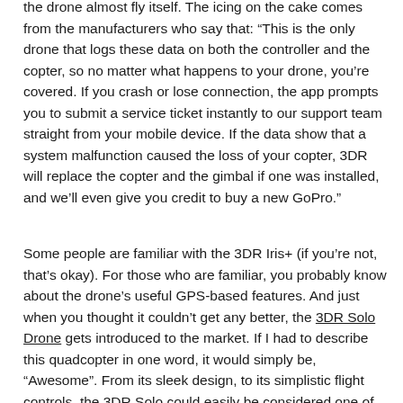the drone almost fly itself. The icing on the cake comes from the manufacturers who say that: “This is the only drone that logs these data on both the controller and the copter, so no matter what happens to your drone, you’re covered. If you crash or lose connection, the app prompts you to submit a service ticket instantly to our support team straight from your mobile device. If the data show that a system malfunction caused the loss of your copter, 3DR will replace the copter and the gimbal if one was installed, and we’ll even give you credit to buy a new GoPro.”
Some people are familiar with the 3DR Iris+ (if you’re not, that’s okay). For those who are familiar, you probably know about the drone’s useful GPS-based features. And just when you thought it couldn’t get any better, the 3DR Solo Drone gets introduced to the market. If I had to describe this quadcopter in one word, it would simply be, “Awesome”. From its sleek design, to its simplistic flight controls, the 3DR Solo could easily be considered one of the best drones of 2015. In this 3DR Solo